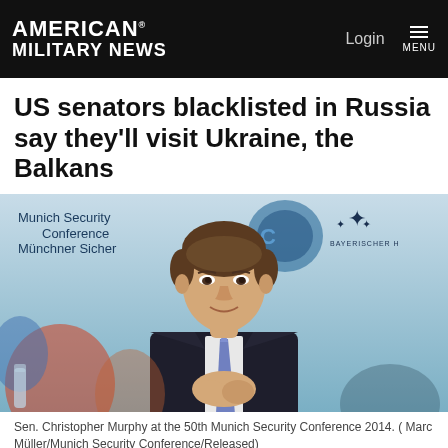AMERICAN MILITARY NEWS | Login | MENU
US senators blacklisted in Russia say they'll visit Ukraine, the Balkans
[Figure (photo): Sen. Christopher Murphy seated at the 50th Munich Security Conference 2014, wearing a dark suit and blue tie, with clasped hands, in front of a light blue background with Munich Security Conference branding and Bayerischer Hof logo.]
Sen. Christopher Murphy at the 50th Munich Security Conference 2014. ( Marc Müller/Munich Security Conference/Released)